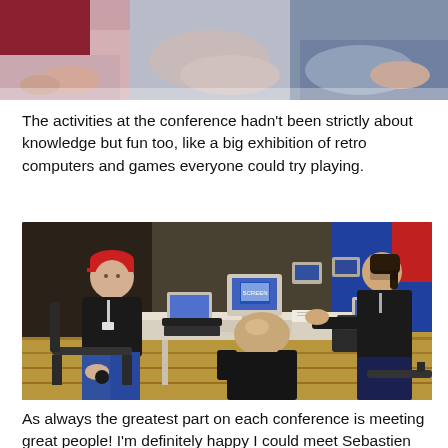[Figure (photo): Partial view of people sitting, cropped at top of page showing arms and laps.]
The activities at the conference hadn't been strictly about knowledge but fun too, like a big exhibition of retro computers and games everyone could try playing.
[Figure (photo): People sitting around a table with retro computers and keyboards on display. A person on the left wears a red cap and conference lanyard. A bald person sits in the center foreground facing away. A person on the right in dark clothing uses one of the computers.]
As always the greatest part on each conference is meeting great people! I'm definitely happy I could meet Sebastien